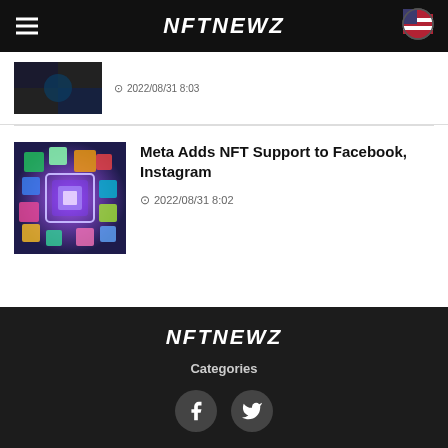NFTNEWZ
2022/08/31 8:03
Meta Adds NFT Support to Facebook, Instagram
2022/08/31 8:02
NFTNEWZ Categories
Categories
[Figure (other): Facebook and Twitter social media icon buttons]